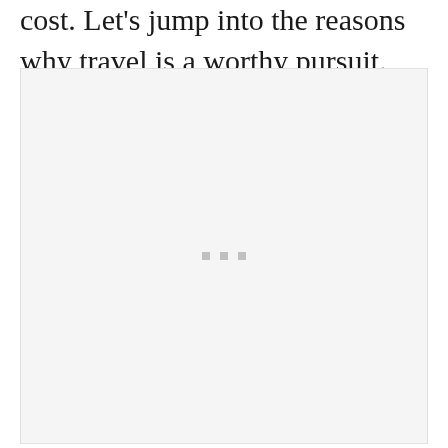cost. Let's jump into the reasons why travel is a worthy pursuit.
[Figure (other): Large light gray placeholder image box with three small gray square dots centered near the middle]